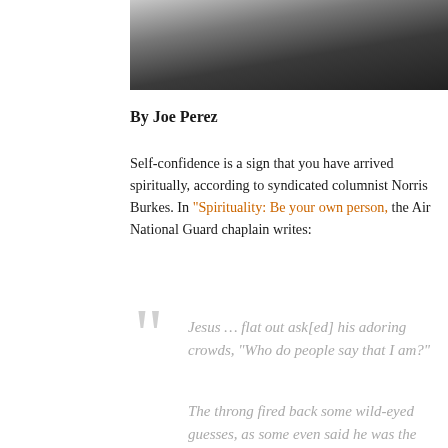[Figure (photo): Partial photo of a person sitting, visible from waist down wearing dark jeans, with white furniture in background]
By Joe Perez
Self-confidence is a sign that you have arrived spiritually, according to syndicated columnist Norris Burkes. In “Spirituality: Be your own person,” the Air National Guard chaplain writes:
Jesus ... flat out ask[ed] his adoring crowds, “Who do people say that I am?”
The throng fired back some wild-eyed guesses, as some even said he was the ghost of an old prophet.